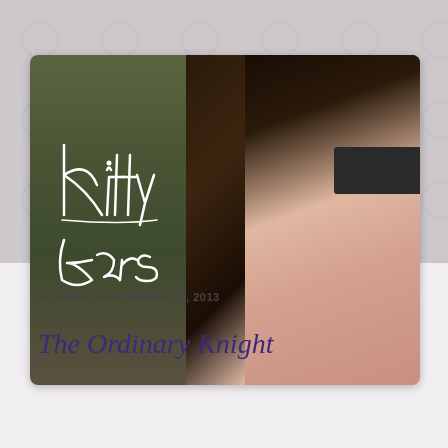[Figure (photo): Blog header photo: close-up of a person with dark hair and glasses, sitting outdoors on grass. Script handwriting text 'Kitty Ears' is overlaid on the image in white cursive. The background shows green/brown grass.]
SUNDAY, SEPTEMBER 22, 2013
The Ordinary Knight